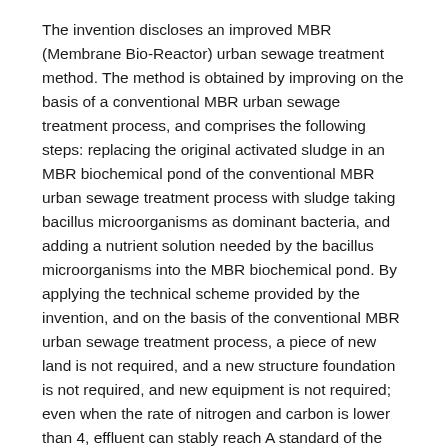The invention discloses an improved MBR (Membrane Bio-Reactor) urban sewage treatment method. The method is obtained by improving on the basis of a conventional MBR urban sewage treatment process, and comprises the following steps: replacing the original activated sludge in an MBR biochemical pond of the conventional MBR urban sewage treatment process with sludge taking bacillus microorganisms as dominant bacteria, and adding a nutrient solution needed by the bacillus microorganisms into the MBR biochemical pond. By applying the technical scheme provided by the invention, and on the basis of the conventional MBR urban sewage treatment process, a piece of new land is not required, and a new structure foundation is not required, and new equipment is not required; even when the rate of nitrogen and carbon is lower than 4, effluent can stably reach A standard of the first class of Urban Sewage Treatment Plant Pollution Discharge Standard, (GB18918-2002) namely T-N equals to 15mg/L.
Classifications